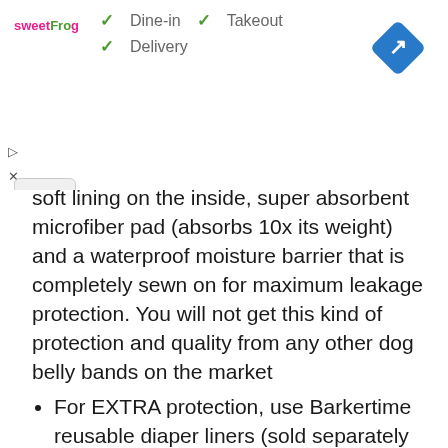[Figure (screenshot): SweetFrog ad banner showing checkmarks for Dine-in, Takeout, and Delivery options, with a blue navigation diamond icon on the right.]
soft lining on the inside, super absorbent microfiber pad (absorbs 10x its weight) and a waterproof moisture barrier that is completely sewn on for maximum leakage protection. You will not get this kind of protection and quality from any other dog belly bands on the market
For EXTRA protection, use Barkertime reusable diaper liners (sold separately by Barkerwear on Amazon). For our Premium Fully Waterproof Belly Bands line with complete leakage protection, check out Barkertime on Amazon